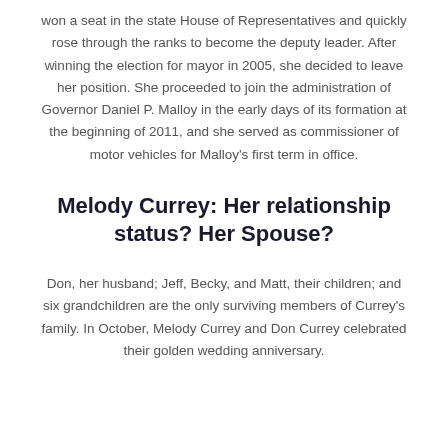won a seat in the state House of Representatives and quickly rose through the ranks to become the deputy leader. After winning the election for mayor in 2005, she decided to leave her position. She proceeded to join the administration of Governor Daniel P. Malloy in the early days of its formation at the beginning of 2011, and she served as commissioner of motor vehicles for Malloy's first term in office.
Melody Currey: Her relationship status? Her Spouse?
Don, her husband; Jeff, Becky, and Matt, their children; and six grandchildren are the only surviving members of Currey's family. In October, Melody Currey and Don Currey celebrated their golden wedding anniversary.